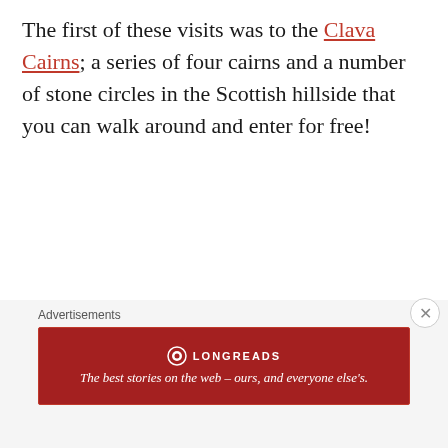The first of these visits was to the Clava Cairns; a series of four cairns and a number of stone circles in the Scottish hillside that you can walk around and enter for free!
The Clava Cairns are about 4,000 years old and were built to house the dead. What remains today would have once
Advertisements
[Figure (other): Longreads advertisement banner: dark red background with Longreads logo and tagline 'The best stories on the web – ours, and everyone else's.']